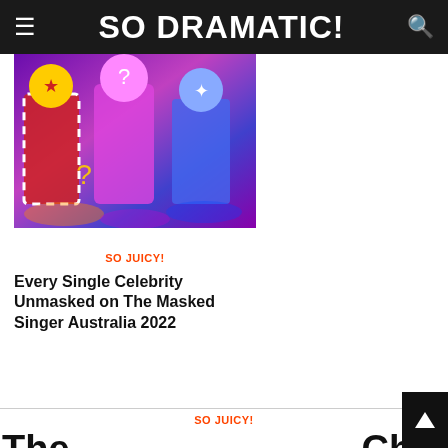SO DRAMATIC!
[Figure (photo): Three costumed characters from The Masked Singer Australia on a colorful stage with purple and pink lighting]
SO JUICY!
Every Single Celebrity Unmasked on The Masked Singer Australia 2022
SO JUICY!
The [obscured] Chef Aus[tralia] k[nock] And [obscured] pect!
[Figure (screenshot): Advertisement overlay: The tech you love, protected - Geek Squad, with Totaltech logo and blue diamond navigation arrow]
[Figure (other): Scroll to top button, dark background with upward arrow]